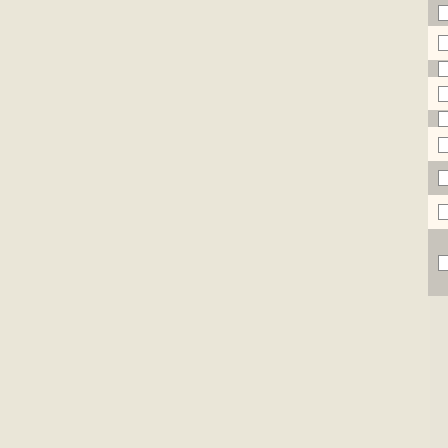|  | NC Accession | Gene ID | Description |
| --- | --- | --- | --- |
| ☐ | NC_010002 | Daci_0530 | flavodoxin reductase (NADH) / syntha... |
| ☐ | NC_009656 | PSPA7_5127 | oxidor... |
| ☐ | NC_011071 | Smal_3632 | flavodoxin reductase (NADH) / syntha... |
| ☐ | NC_008463 | PA14_58560 | oxidor... |
| ☐ | NC_010322 | PputGB1_0903 | flavodoxin reductase (NADH) / syntha... |
| ☐ | NC_012791 | Vapar_5028 | flavodoxin reductase (NADH) / syntha... |
| ☐ | NC_008752 | Aave_4788 | flavodoxin reductase (NADH) / syntha... |
| ☐ | NC_012560 | Avin_12440 | sulfite reductase (NADH) / alpha- / regula... |